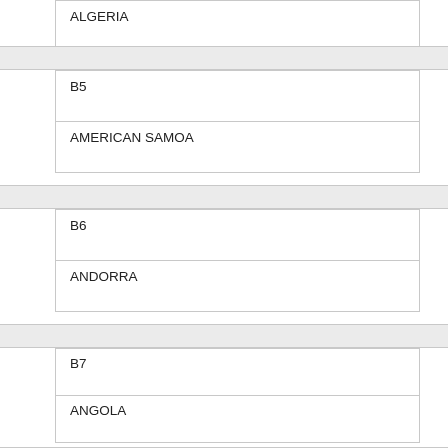| B4 | ALGERIA |
| B5 | AMERICAN SAMOA |
| B6 | ANDORRA |
| B7 | ANGOLA |
| 1A | ANGUILLA |